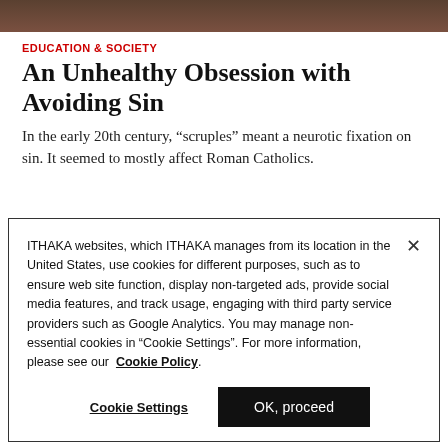[Figure (photo): Dark blurred background image at top of page]
EDUCATION & SOCIETY
An Unhealthy Obsession with Avoiding Sin
In the early 20th century, “scruples” meant a neurotic fixation on sin. It seemed to mostly affect Roman Catholics.
ITHAKA websites, which ITHAKA manages from its location in the United States, use cookies for different purposes, such as to ensure web site function, display non-targeted ads, provide social media features, and track usage, engaging with third party service providers such as Google Analytics. You may manage non-essential cookies in “Cookie Settings”. For more information, please see our Cookie Policy.
Cookie Settings
OK, proceed